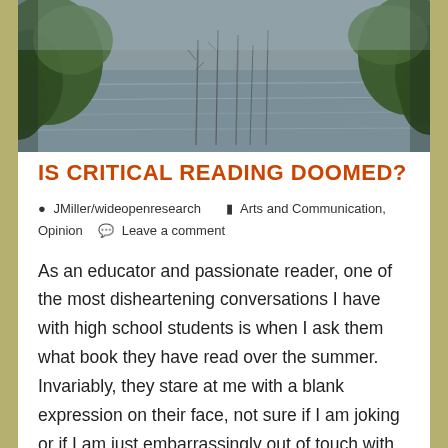[Figure (photo): Flooded landscape with submerged trees and bare branches reflected in still water, with green foliage on the sides]
IS CRITICAL READING DOOMED?
JMiller/wideopenresearch   Arts and Communication, Opinion   Leave a comment
As an educator and passionate reader, one of the most disheartening conversations I have with high school students is when I ask them what book they have read over the summer. Invariably, they stare at me with a blank expression on their face, not sure if I am joking or if I am just embarrassingly out of touch with culture.